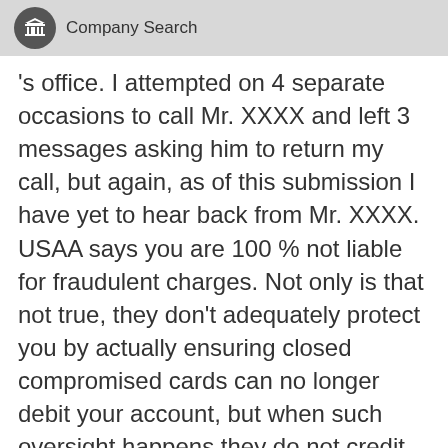Company Search
's office. I attempted on 4 separate occasions to call Mr. XXXX and left 3 messages asking him to return my call, but again, as of this submission I have yet to hear back from Mr. XXXX. USAA says you are 100 % not liable for fraudulent charges. Not only is that not true, they don't adequately protect you by actually ensuring closed compromised cards can no longer debit your account, but when such oversight happens they do not credit you back the money they themselves have investigated and said where fraudulent.